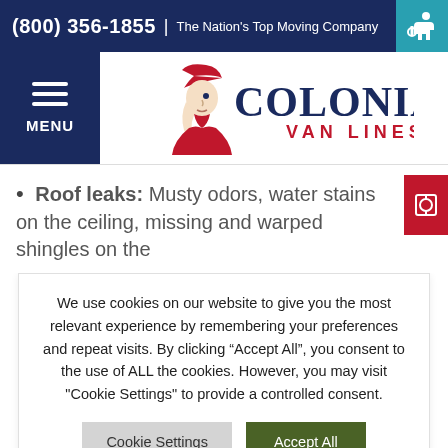(800) 356-1855 | The Nation's Top Moving Company
[Figure (logo): Colonial Van Lines logo with a colonial soldier figure in red hat and blue text reading COLONIAL VAN LINES]
Roof leaks: Musty odors, water stains on the ceiling, missing and warped shingles on the
We use cookies on our website to give you the most relevant experience by remembering your preferences and repeat visits. By clicking “Accept All”, you consent to the use of ALL the cookies. However, you may visit "Cookie Settings" to provide a controlled consent.